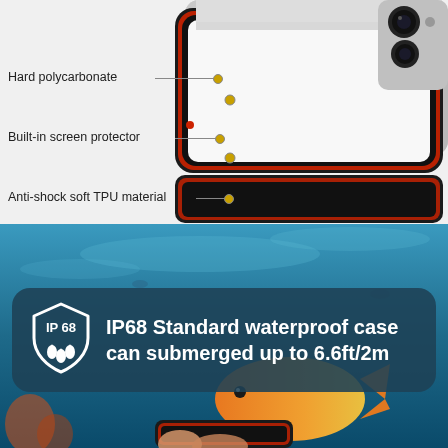[Figure (photo): Product photo of a smartphone case (black/red trim) with built-in screen protector, showing the back of a silver phone with triple camera. White background. Labels pointing to: Hard polycarbonate, Built-in screen protector, Anti-shock soft TPU material.]
Hard polycarbonate
Built-in screen protector
Anti-shock soft TPU material
[Figure (photo): Underwater photo showing a bright orange fish and a hand holding a smartphone in the waterproof case, with blue water and fish in background. Overlaid dark teal rounded banner with IP68 shield icon and text: 'IP68 Standard waterproof case can submerged up to 6.6ft/2m'.]
IP68 Standard waterproof case can submerged up to 6.6ft/2m